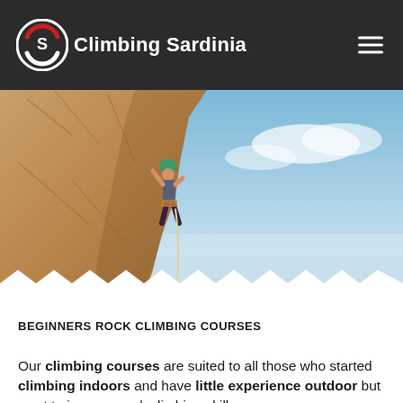Climbing Sardinia
[Figure (photo): Rock climber on a sandstone cliff face with a blue sky and sea horizon in the background]
BEGINNERS ROCK CLIMBING COURSES
Our climbing courses are suited to all those who started climbing indoors and have little experience outdoor but want to improve rock climbing skills.
OUtdoor climbing courses can last from 1 to 6 days. Our qualified IFMGA Mountain Guides demonstrate techniques and theory on location, practising what you need directly on the rock. Some call it Kinaesthetic